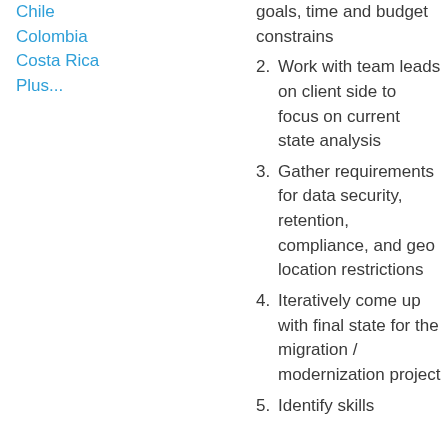Chile
Colombia
Costa Rica
Plus...
goals, time and budget constrains
Work with team leads on client side to focus on current state analysis
Gather requirements for data security, retention, compliance, and geo location restrictions
Iteratively come up with final state for the migration / modernization project
Identify skills